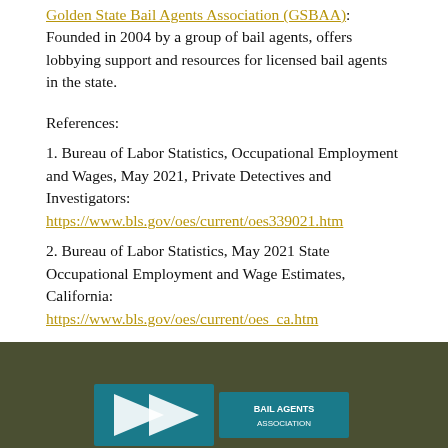Golden State Bail Agents Association (GSBAA): Founded in 2004 by a group of bail agents, offers lobbying support and resources for licensed bail agents in the state.
References:
1. Bureau of Labor Statistics, Occupational Employment and Wages, May 2021, Private Detectives and Investigators: https://www.bls.gov/oes/current/oes339021.htm
2. Bureau of Labor Statistics, May 2021 State Occupational Employment and Wage Estimates, California: https://www.bls.gov/oes/current/oes_ca.htm
3. Projections Central, Long Term Occupational Projections: https://projectionscentral.org/Projections/LongTerm
[Figure (logo): Logo in footer bar on dark olive/green background]